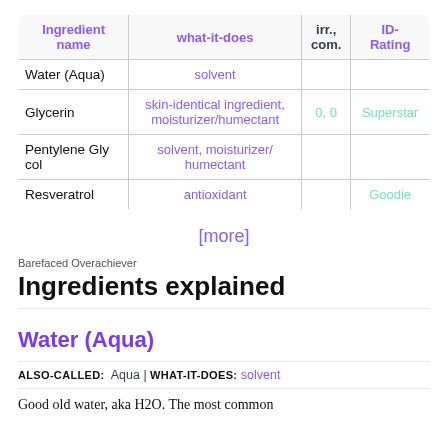| Ingredient name | what-it-does | irr., com. | ID-Rating |
| --- | --- | --- | --- |
| Water (Aqua) | solvent |  |  |
| Glycerin | skin-identical ingredient, moisturizer/humectant | 0, 0 | Superstar |
| Pentylene Glycol | solvent, moisturizer/humectant |  |  |
| Resveratrol | antioxidant |  | Goodie |
[more]
Barefaced Overachiever
Ingredients explained
Water (Aqua)
ALSO-CALLED: Aqua | WHAT-IT-DOES: solvent
Good old water, aka H2O. The most common